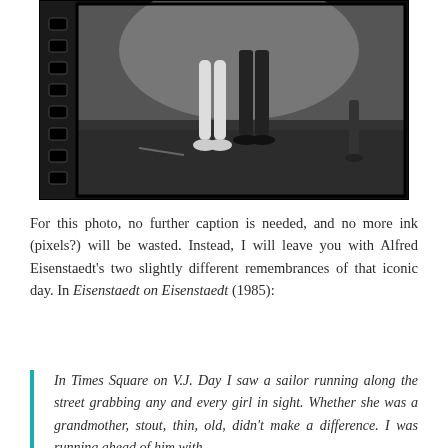[Figure (photo): Black and white film negative style photograph showing partial view of dancing figures, legs and feet visible, with film strip sprocket holes on the left edge]
For this photo, no further caption is needed, and no more ink (pixels?) will be wasted. Instead, I will leave you with Alfred Eisenstaedt's two slightly different remembrances of that iconic day. In Eisenstaedt on Eisenstaedt (1985):
In Times Square on V.J. Day I saw a sailor running along the street grabbing any and every girl in sight. Whether she was a grandmother, stout, thin, old, didn't make a difference. I was running ahead of him with